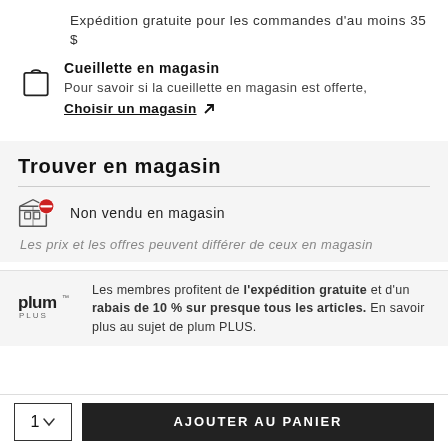Expédition gratuite pour les commandes d'au moins 35 $
Cueillette en magasin
Pour savoir si la cueillette en magasin est offerte,
Choisir un magasin ↗
Trouver en magasin
Non vendu en magasin
Les prix et les offres peuvent différer de ceux en magasin
Les membres profitent de l'expédition gratuite et d'un rabais de 10 % sur presque tous les articles. En savoir plus au sujet de plum PLUS.
1
AJOUTER AU PANIER